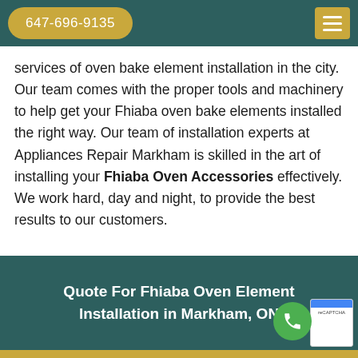647-696-9135
services of oven bake element installation in the city. Our team comes with the proper tools and machinery to help get your Fhiaba oven bake elements installed the right way. Our team of installation experts at Appliances Repair Markham is skilled in the art of installing your Fhiaba Oven Accessories effectively. We work hard, day and night, to provide the best results to our customers.
Quote For Fhiaba Oven Element Installation in Markham, ON